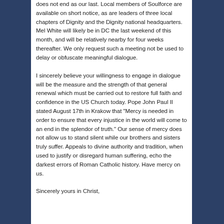does not end as our last. Local members of Soulforce are available on short notice, as are leaders of three local chapters of Dignity and the Dignity national headquarters. Mel White will likely be in DC the last weekend of this month, and will be relatively nearby for four weeks thereafter. We only request such a meeting not be used to delay or obfuscate meaningful dialogue.
I sincerely believe your willingness to engage in dialogue will be the measure and the strength of that general renewal which must be carried out to restore full faith and confidence in the US Church today. Pope John Paul II stated August 17th in Krakow that "Mercy is needed in order to ensure that every injustice in the world will come to an end in the splendor of truth." Our sense of mercy does not allow us to stand silent while our brothers and sisters truly suffer. Appeals to divine authority and tradition, when used to justify or disregard human suffering, echo the darkest errors of Roman Catholic history. Have mercy on us.
Sincerely yours in Christ,